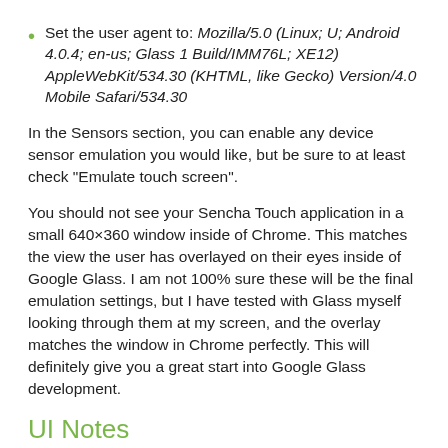Set the user agent to: Mozilla/5.0 (Linux; U; Android 4.0.4; en-us; Glass 1 Build/IMM76L; XE12) AppleWebKit/534.30 (KHTML, like Gecko) Version/4.0 Mobile Safari/534.30
In the Sensors section, you can enable any device sensor emulation you would like, but be sure to at least check “Emulate touch screen”.
You should not see your Sencha Touch application in a small 640×360 window inside of Chrome. This matches the view the user has overlayed on their eyes inside of Google Glass. I am not 100% sure these will be the final emulation settings, but I have tested with Glass myself looking through them at my screen, and the overlay matches the window in Chrome perfectly. This will definitely give you a great start into Google Glass development.
UI Notes